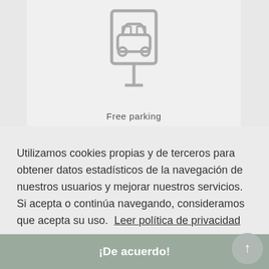[Figure (illustration): Parking sign icon: a rectangular sign with a car silhouette inside, mounted on a pole, rendered in light gray outline style]
Free parking
Utilizamos cookies propias y de terceros para obtener datos estadísticos de la navegación de nuestros usuarios y mejorar nuestros servicios. Si acepta o continúa navegando, consideramos que acepta su uso.  Leer política de privacidad
¡De acuerdo!